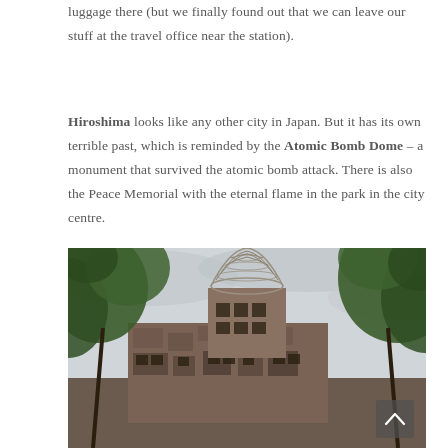luggage there (but we finally found out that we can leave our stuff at the travel office near the station).
Hiroshima looks like any other city in Japan. But it has its own terrible past, which is reminded by the Atomic Bomb Dome – a monument that survived the atomic bomb attack. There is also the Peace Memorial with the eternal flame in the park in the city centre.
[Figure (photo): Photograph of the Atomic Bomb Dome in Hiroshima, Japan. The ruined brick building with its skeletal iron dome frame is visible against an overcast sky, framed by green tree branches in the foreground.]